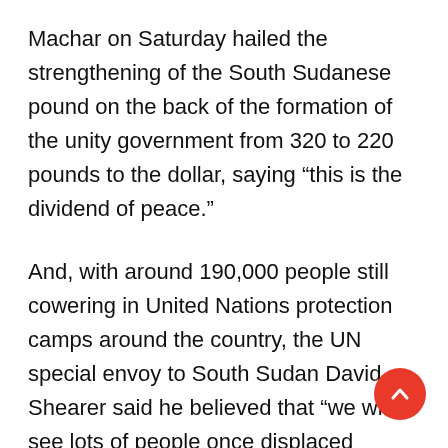Machar on Saturday hailed the strengthening of the South Sudanese pound on the back of the formation of the unity government from 320 to 220 pounds to the dollar, saying “this is the dividend of peace.”
And, with around 190,000 people still cowering in United Nations protection camps around the country, the UN special envoy to South Sudan David Shearer said he believed that “we will see lots of people once displaced moving back to their homes.”
Kiir and Machar had come under increased